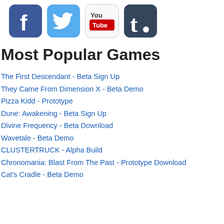[Figure (infographic): Four social media icons in a row: Facebook (blue square with white f), Twitter (blue square with white bird), YouTube (white square with You/Tube red logo), Tumblr (dark blue-grey square with white t.)]
Most Popular Games
The First Descendant - Beta Sign Up
They Came From Dimension X - Beta Demo
Pizza Kidd - Prototype
Dune: Awakening - Beta Sign Up
Divine Frequency - Beta Download
Wavetale - Beta Demo
CLUSTERTRUCK - Alpha Build
Chronomania: Blast From The Past - Prototype Download
Cat's Cradle - Beta Demo